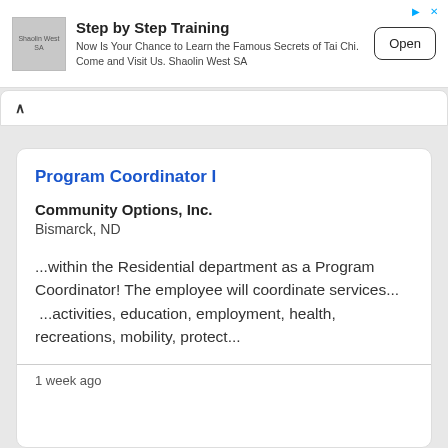[Figure (other): Advertisement banner for Step by Step Training / Shaolin West SA with logo, text, and Open button]
Step by Step Training
Now Is Your Chance to Learn the Famous Secrets of Tai Chi. Come and Visit Us. Shaolin West SA
Program Coordinator I
Community Options, Inc.
Bismarck, ND
...within the Residential department as a Program Coordinator! The employee will coordinate services... ...activities, education, employment, health, recreations, mobility, protect...
1 week ago